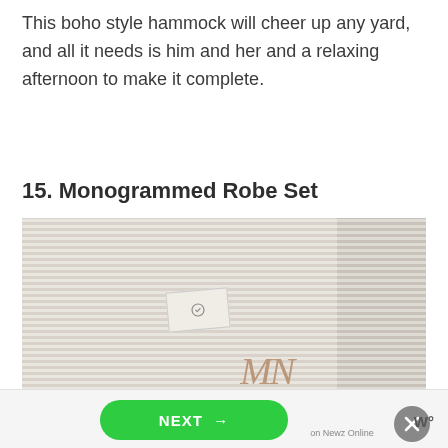This boho style hammock will cheer up any yard, and all it needs is him and her and a relaxing afternoon to make it complete.
15. Monogrammed Robe Set
[Figure (photo): Close-up photo of a white waffle-textured robe set with a monogram embroidered in tan/brown thread and a hang tag visible near the collar, on a dark background.]
NEXT →
on Newz Online